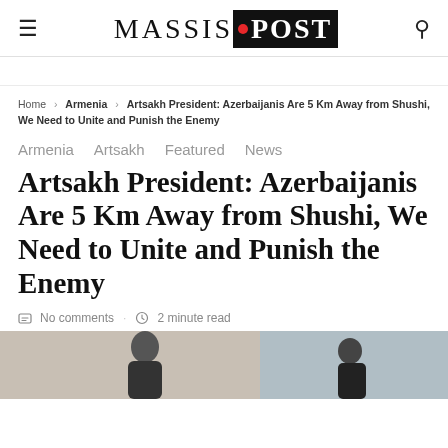MASSIS POST
Home > Armenia > Artsakh President: Azerbaijanis Are 5 Km Away from Shushi, We Need to Unite and Punish the Enemy
Armenia   Artsakh   Featured   News
Artsakh President: Azerbaijanis Are 5 Km Away from Shushi, We Need to Unite and Punish the Enemy
No comments · 2 minute read
[Figure (photo): Photo of two individuals, partially visible at the bottom of the page]